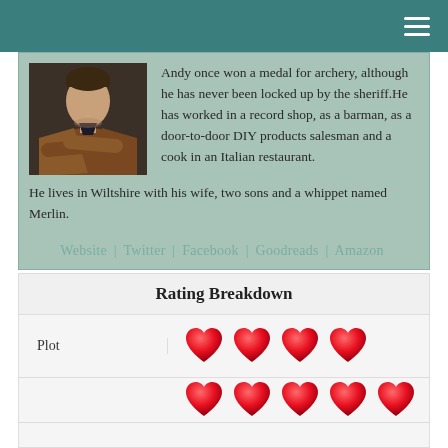Navigation menu
[Figure (photo): Author photo: man in brown leather jacket with arms crossed]
Andy once won a medal for archery, although he has never been locked up by the sheriff.He has worked in a record shop, as a barman, as a door-to-door DIY products salesman and a cook in an Italian restaurant.
He lives in Wiltshire with his wife, two sons and a whippet named Merlin.
Website | Twitter | Facebook | Goodreads | Amazon
Rating Breakdown
| Category | Rating |
| --- | --- |
| Plot | 4 hearts |
| (partial row visible) | 5 hearts |